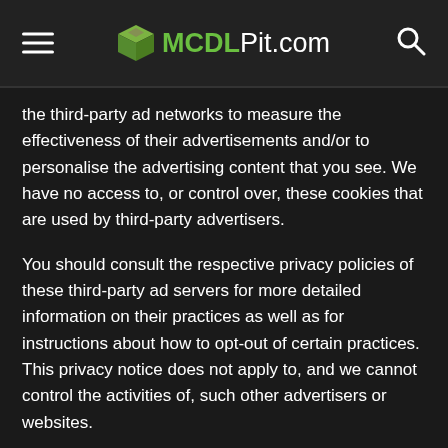MCDLPit.com
the third-party ad networks to measure the effectiveness of their advertisements and/or to personalise the advertising content that you see. We have no access to, or control over, these cookies that are used by third-party advertisers.
You should consult the respective privacy policies of these third-party ad servers for more detailed information on their practices as well as for instructions about how to opt-out of certain practices. This privacy notice does not apply to, and we cannot control the activities of, such other advertisers or websites.
You can set your browser to refuse all or some browser cookies, or to alert you when websites set or access cookies. If you disable or refuse cookies, please note that some parts of our MCDLPit.com Website may become inaccessible or not function properly.